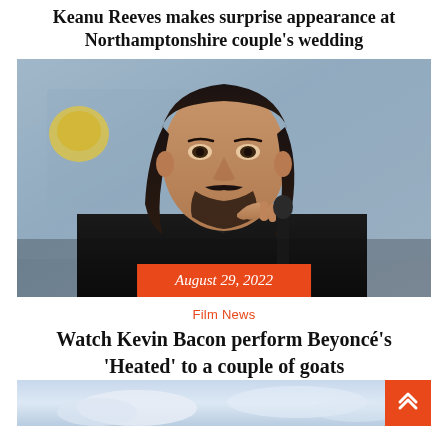Keanu Reeves makes surprise appearance at Northamptonshire couple's wedding
[Figure (photo): Photo of Keanu Reeves at what appears to be a Comic-Con panel, with long dark hair and beard, wearing a black suit, resting his hand near his face. An orange date badge reads 'August 29, 2022'.]
Film News
Watch Kevin Bacon perform Beyoncé's 'Heated' to a couple of goats
[Figure (photo): Partial photo at the bottom of the page, appears to show an outdoor sky/cloud scene.]